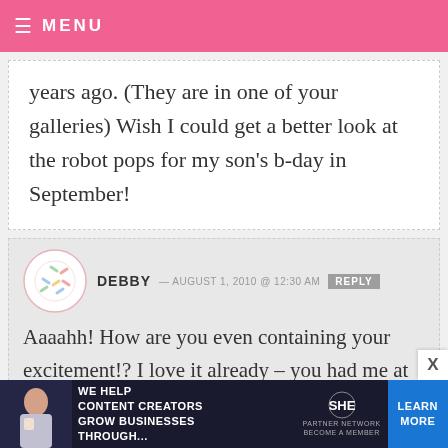MENU
years ago. (They are in one of your galleries) Wish I could get a better look at the robot pops for my son's b-day in September!
DEBBY — AUGUST 1, 2010 @ 12:30 AM  REPLY
Aaaahh! How are you even containing your excitement!? I love it already – you had me at pink wiro-binding! :)
I have definitely made cake pops. They
[Figure (other): Advertisement banner: SHE Media Partner Network - We help content creators grow businesses through... Learn More button]
[Figure (other): Close (X) button]